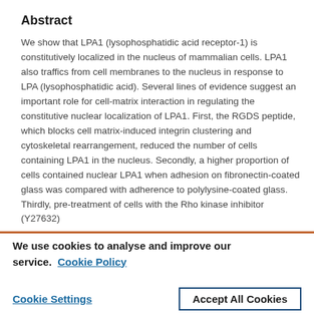Abstract
We show that LPA1 (lysophosphatidic acid receptor-1) is constitutively localized in the nucleus of mammalian cells. LPA1 also traffics from cell membranes to the nucleus in response to LPA (lysophosphatidic acid). Several lines of evidence suggest an important role for cell-matrix interaction in regulating the constitutive nuclear localization of LPA1. First, the RGDS peptide, which blocks cell matrix-induced integrin clustering and cytoskeletal rearrangement, reduced the number of cells containing LPA1 in the nucleus. Secondly, a higher proportion of cells contained nuclear LPA1 when adhesion on fibronectin-coated glass was compared with adherence to polylysine-coated glass. Thirdly, pre-treatment of cells with the Rho kinase inhibitor (Y27632) ...
We use cookies to analyse and improve our service. Cookie Policy
Cookie Settings     Accept All Cookies